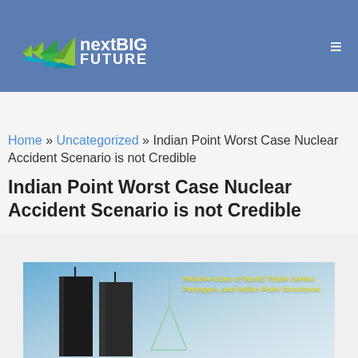[Figure (logo): nextBIG FUTURE logo with geometric arrow/diamond shapes in green and teal, followed by the text 'nextBIG FUTURE' in white on a blue background]
Home » Uncategorized » Indian Point Worst Case Nuclear Accident Scenario is not Credible
Indian Point Worst Case Nuclear Accident Scenario is not Credible
[Figure (photo): Image showing relative sizes of World Trade Center, Pentagon, and Indian Point Structures with buildings silhouettes on a sky background]